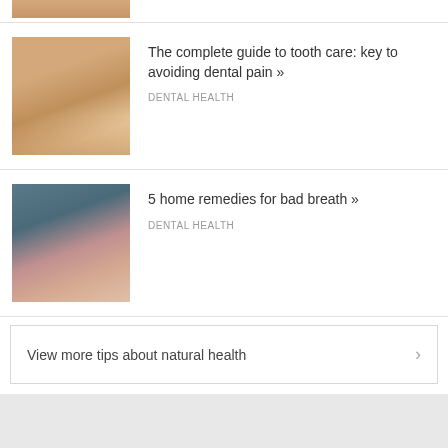[Figure (photo): Partial view of a dental patient photo cropped at the top of the page]
[Figure (photo): Close-up photo of a person at the dentist, face tilted back with mouth open, dental mirror visible]
The complete guide to tooth care: key to avoiding dental pain »
DENTAL HEALTH
[Figure (photo): Photo of a worried young woman with long dark hair covering her mouth with both hands against a blue-grey background]
5 home remedies for bad breath »
DENTAL HEALTH
View more tips about natural health